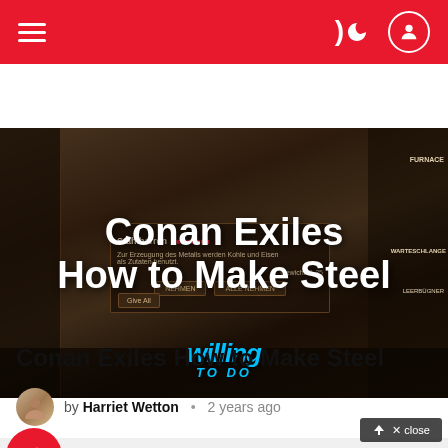Navigation header with hamburger menu and user icon
[Figure (screenshot): Conan Exiles game screenshot showing crafting/inventory UI with text overlay 'Conan Exiles How to Make Steel' and Willing To Do watermark logo]
Conan Exiles How to Make Steel
by Harriet Wetton • 2 years ago
[Figure (infographic): Trending/advertisement box with red flame icon on grey background]